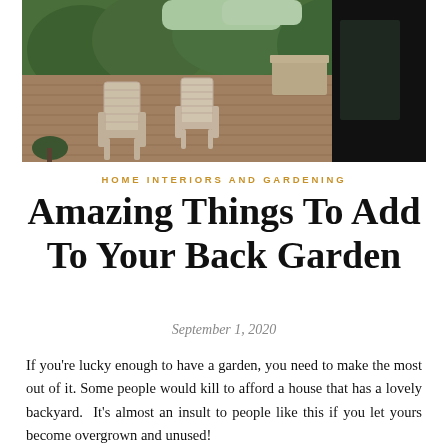[Figure (photo): Outdoor wooden deck with two white wooden lounge chairs, surrounded by lush green trees and grass in the background, with a modern dark building on the right side.]
HOME INTERIORS AND GARDENING
Amazing Things To Add To Your Back Garden
September 1, 2020
If you're lucky enough to have a garden, you need to make the most out of it. Some people would kill to afford a house that has a lovely backyard.  It's almost an insult to people like this if you let yours become overgrown and unused!
To ensure the best out...